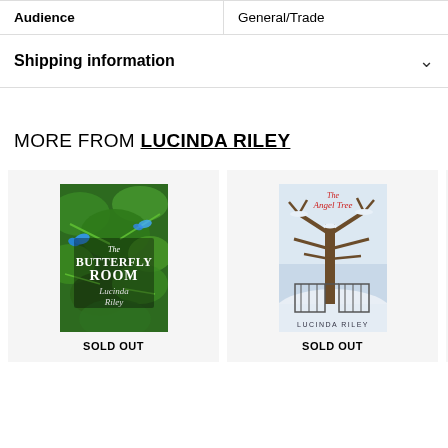| Audience | General/Trade |
Shipping information
MORE FROM LUCINDA RILEY
[Figure (illustration): Book cover: The Butterfly Room by Lucinda Riley — green tropical foliage with butterflies]
SOLD OUT
[Figure (illustration): Book cover: The Angel Tree by Lucinda Riley — snowy winter tree with iron gates]
SOLD OUT
SOLD